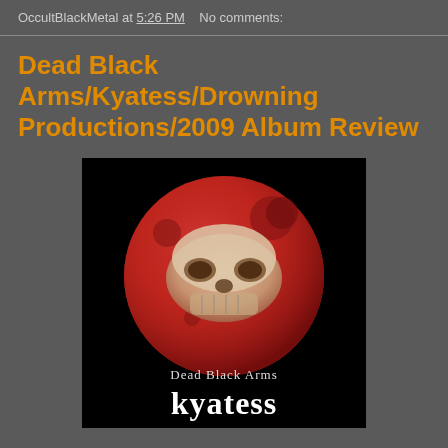OccultBlackMetal at 5:26 PM   No comments:
Dead Black Arms/Kyatess/Drowning Productions/2009 Album Review
[Figure (photo): Album cover for Dead Black Arms - Kyatess. Black background with a large red blood moon in the center. Overlaid on the moon is a pale skull-like face/mask image. At the bottom of the cover, in old English style font, reads 'Dead Black Arms' and below that in large white text 'kyatess'.]